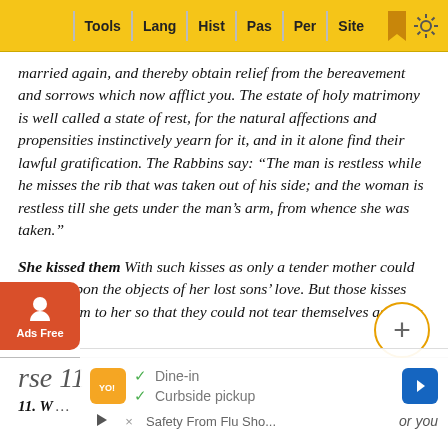Tools | Lang | Hist | Pas | Per | Site
married again, and thereby obtain relief from the bereavement and sorrows which now afflict you. The estate of holy matrimony is well called a state of rest, for the natural affections and propensities instinctively yearn for it, and in it alone find their lawful gratification. The Rabbins say: “The man is restless while he misses the rib that was taken out of his side; and the woman is restless till she gets under the man’s arm, from whence she was taken.”
She kissed them With such kisses as only a tender mother could imprint upon the objects of her lost sons’ love. But those kisses bound them to her so that they could not tear themselves asunder.
Verse 11
11. W… or you